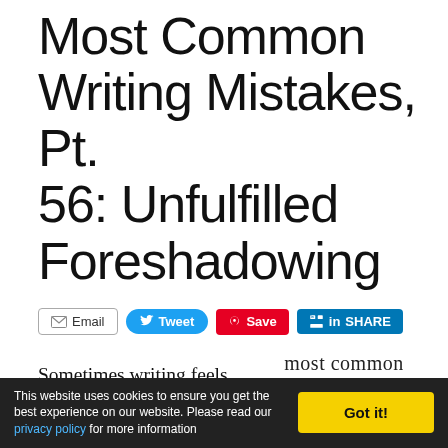Most Common Writing Mistakes, Pt. 56: Unfulfilled Foreshadowing
[Figure (infographic): Social sharing buttons row: Email, Tweet, Save (Pinterest), SHARE (LinkedIn)]
Sometimes writing feels like magic. You look back at the story you've
[Figure (illustration): Book graphic with text: most common writing MISTAKES]
This website uses cookies to ensure you get the best experience on our website. Please read our privacy policy for more information